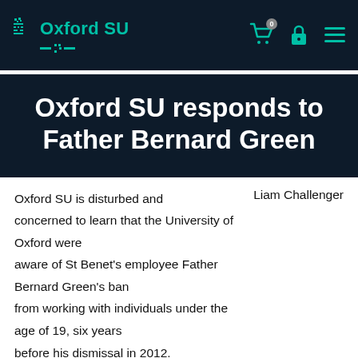Oxford SU
Oxford SU responds to Father Bernard Green
Oxford SU is disturbed and concerned to learn that the University of Oxford were aware of St Benet's employee Father Bernard Green's ban from working with individuals under the age of 19, six years before his dismissal in 2012.
Liam Challenger
[Figure (photo): Photograph of a domed Oxford University building (Radcliffe Camera or similar) with blue sky and clouds in the background]